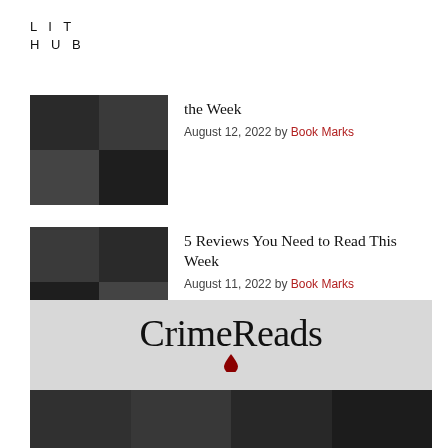LIT
HUB
the Week — August 12, 2022 by Book Marks
5 Reviews You Need to Read This Week — August 11, 2022 by Book Marks
The Best Reviewed Books of the Week — August 5, 2022 by Book Marks
[Figure (logo): CrimeReads logo with red blood drop on grey background, followed by a dark multi-column panel below]